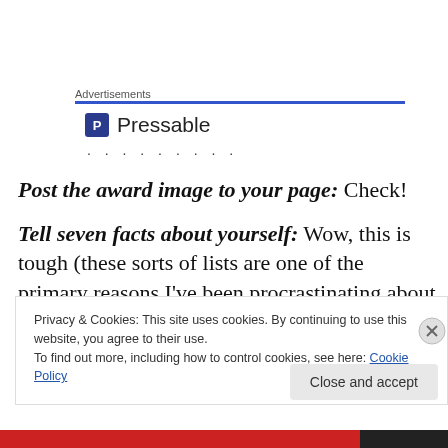Advertisements
[Figure (logo): Pressable logo with blue square icon and text 'Pressable', followed by a dotted line of bullets]
Post the award image to your page: Check!
Tell seven facts about yourself: Wow, this is tough (these sorts of lists are one of the primary reasons I’ve been procrastinating about my ‘acceptance speech’). That
Privacy & Cookies: This site uses cookies. By continuing to use this website, you agree to their use.
To find out more, including how to control cookies, see here: Cookie Policy
Close and accept